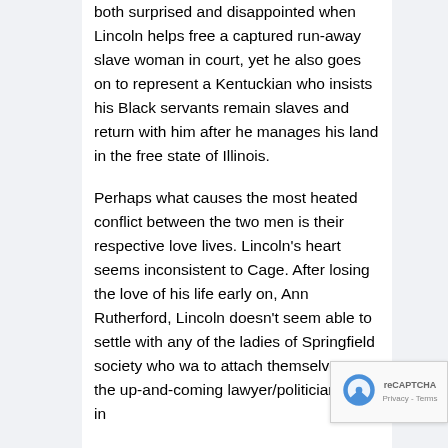both surprised and disappointed when Lincoln helps free a captured run-away slave woman in court, yet he also goes on to represent a Kentuckian who insists his Black servants remain slaves and return with him after he manages his land in the free state of Illinois.
Perhaps what causes the most heated conflict between the two men is their respective love lives. Lincoln’s heart seems inconsistent to Cage. After losing the love of his life early on, Ann Rutherford, Lincoln doesn’t seem able to settle with any of the ladies of Springfield society who wa to attach themselves to the up-and-coming lawyer/politician. One in
[Figure (other): reCAPTCHA widget overlay in bottom-right corner showing the reCAPTCHA logo and 'Privacy - Terms' text]